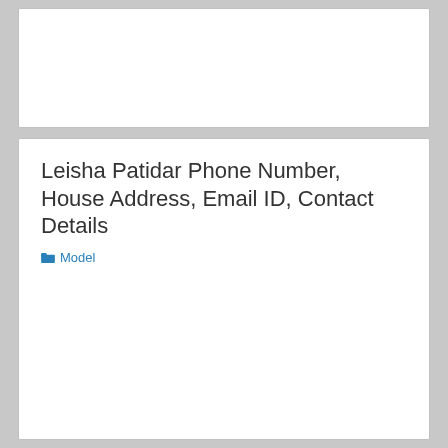Leisha Patidar Phone Number, House Address, Email ID, Contact Details
Model